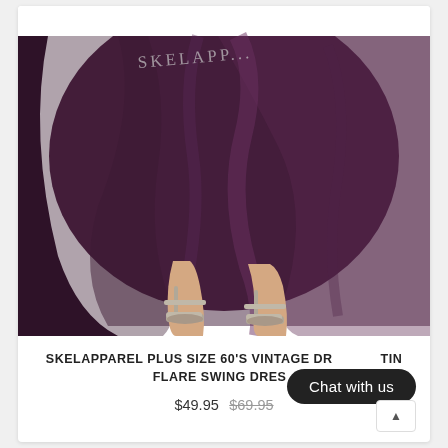[Figure (photo): Cropped photo of a person wearing a dark burgundy/plum satin plus-size 60s vintage flare swing dress, shown from waist down, with silver strappy heeled sandals. A watermark reads 'SKELAPPA...' across the skirt.]
SKELAPPAREL PLUS SIZE 60'S VINTAGE DRESS SATIN FLARE SWING DRESS
$49.95 $69.95